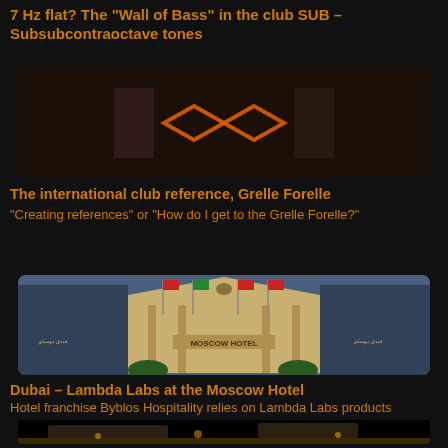7 Hz flat? The “Wall of Bass” in the club SUB – Subsubcontraoctave tones
[Figure (photo): Dark nightclub interior with orange double-diamond logo on wall (Grelle Forelle sign)]
The international club reference, Grelle Forelle
“Creating references” or “How do I get to the Grelle Forelle?”
[Figure (photo): Exterior photo of Moscow Hotel in Dubai with flags and classical facade]
Dubai – Lambda Labs at the Moscow Hotel
Hotel franchise Byblos Hospitality relies on Lambda Labs products
[Figure (photo): Modern building exterior at dusk with illuminated curved roof structure]